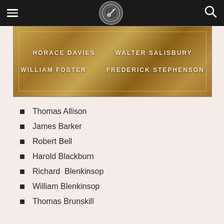Navigation header with menu, logo, and search icon
[Figure (photo): A photograph of a brass memorial plaque showing names: HORACE DAVIES, WALTER SALISBURY, WILLIAM FOSTER, FREDERICK STEPHENSON engraved in capital letters on a golden-brown metal surface.]
Thomas Allison
James Barker
Robert Bell
Harold Blackburn
Richard  Blenkinsop
William Blenkinsop
Thomas Brunskill